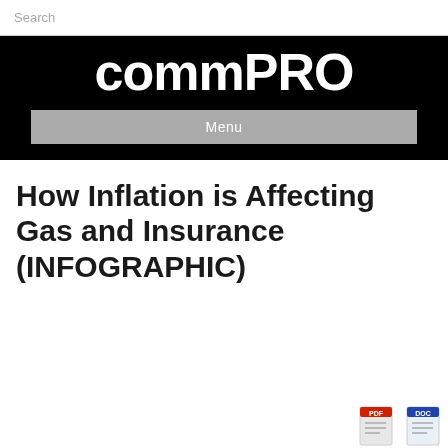Search
[Figure (logo): COMMPRO logo in white bold text on black background]
Menu
How Inflation is Affecting Gas and Insurance (INFOGRAPHIC)